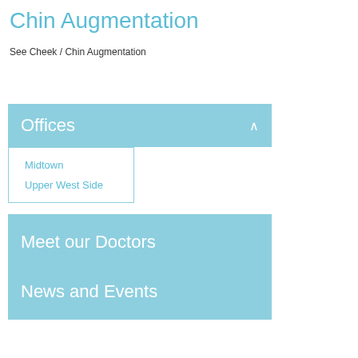Chin Augmentation
See Cheek / Chin Augmentation
Offices
Midtown
Upper West Side
Meet our Doctors
News and Events